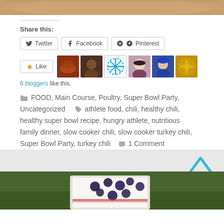[Figure (photo): Top portion of a food photo (chili in bowl), cropped]
Share this:
Twitter  Facebook  Pinterest (share buttons)
Like  [6 avatar thumbnails]
6 bloggers like this.
FOOD, Main Course, Poultry, Super Bowl Party, Uncategorized   athlete food, chili, healthy chili, healthy super bowl recipe, hungry athlete, nutritious family dinner, slow cooker chili, slow cooker turkey chili, Super Bowl Party, turkey chili   1 Comment
[Figure (photo): Bottom portion: a glass with yogurt and blueberries on green grass background]